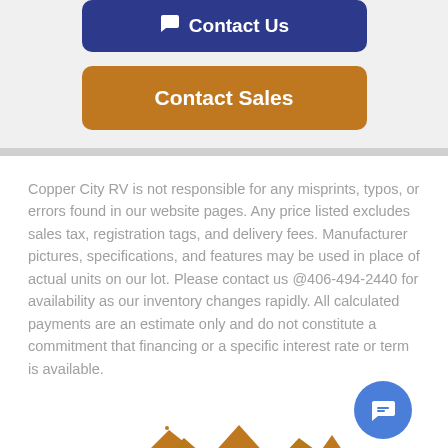[Figure (screenshot): Blue 'Contact Us' button with chat icon]
[Figure (screenshot): Orange/brown 'Contact Sales' button]
Copper City RV is not responsible for any misprints, typos, or errors found in our website pages. Any price listed excludes sales tax, registration tags, and delivery fees. Manufacturer pictures, specifications, and features may be used in place of actual units on our lot. Please contact us @406-494-2440 for availability as our inventory changes rapidly. All calculated payments are an estimate only and do not constitute a commitment that financing or a specific interest rate or term is available.
[Figure (logo): Copper City RV mountain logo at bottom]
[Figure (illustration): Blue chat bubble button in bottom right corner]